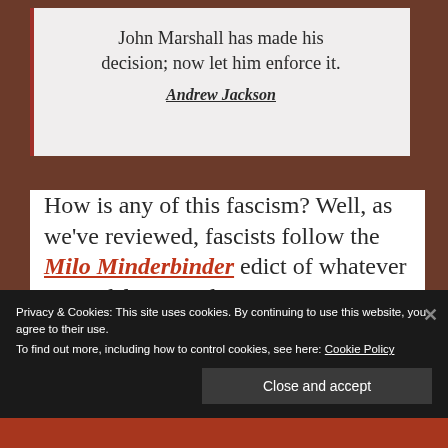John Marshall has made his decision; now let him enforce it.
— Andrew Jackson
How is any of this fascism? Well, as we've reviewed, fascists follow the Milo Minderbinder edict of whatever is good for M and M Enterprises is good for the country, only they replace M and M
Privacy & Cookies: This site uses cookies. By continuing to use this website, you agree to their use.
To find out more, including how to control cookies, see here: Cookie Policy
Close and accept